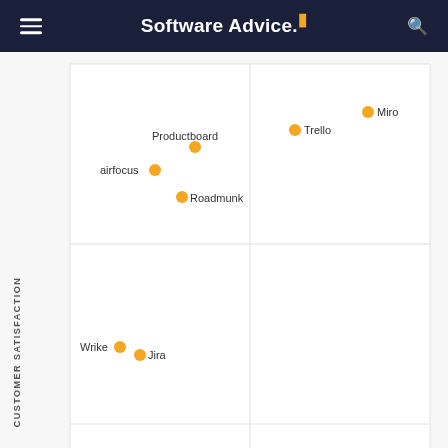Software Advice.
[Figure (scatter-plot): Software Advice FrontRunners Scatter Plot]
“Usability” includes user ratings for Functionality and Ease of Use. “Customer Satisfaction” includes user ratings for Customer Support, Likelihood to Recommend and Value for Money. Reviews analysis period: The reviews analysis period spans two years and ends on the 15th of the month prior to publication.